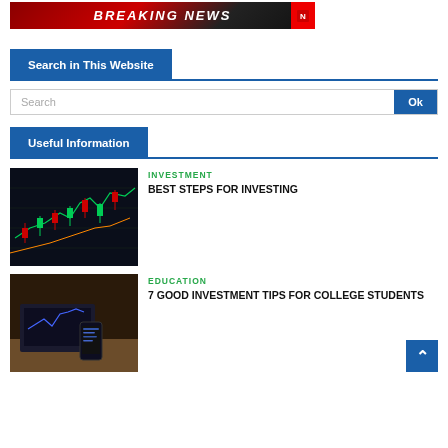[Figure (photo): Breaking News banner image with red and dark background, white bold italic text reading BREAKING NEWS]
Search in This Website
Search
Useful Information
[Figure (photo): Stock market candlestick chart on dark screen with red and green candles]
INVESTMENT
BEST STEPS FOR INVESTING
[Figure (photo): Laptop and smartphone showing financial charts on a wooden desk]
EDUCATION
7 Good Investment Tips for College Students